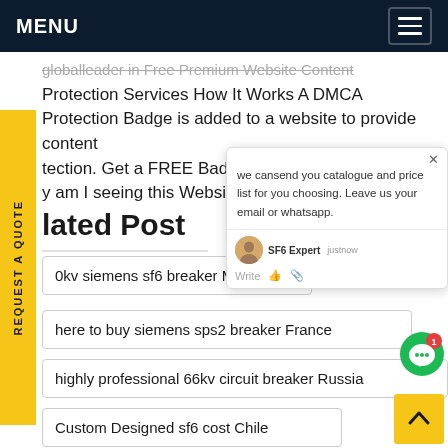MENU
globalleader in Free Premium Website Content Protection Services How It Works A DMCA Protection Badge is added to a website to provide content protection. Get a FREE Badge for your Blogger Blog why am I seeing this WebsiteGet pri...
REQUEST A QUOTE
lated Post
0kv siemens sf6 breaker Malaysia
here to buy siemens sps2 breaker France
highly professional 66kv circuit breaker Russia
Custom Designed sf6 cost Chile
we cansend you catalogue and price list for you choosing. Leave us your email or whatsapp.
SF6 Expert  justnow
Write